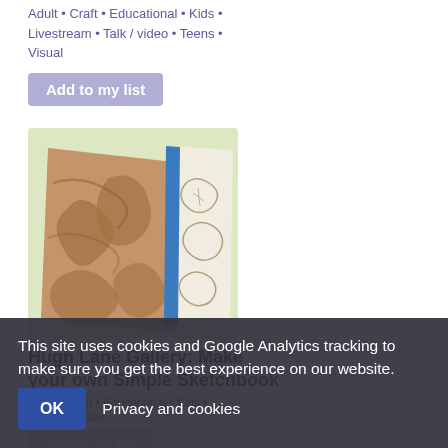Adult • Craft • Educational • Kids • Livestream • Talk / video • Teens • Visual
Add to my list
[Figure (photo): Photo of handmade sketchbooks on a light green background. One sketchbook is brown/tan cardboard textured, the other is open showing pencil sketch drawings of butterfly/leaf shapes.]
Hugh Lane Gallery: Make your own Simple Sketchbook
Adult • ... • Teens • Visual
Add to my list
This site uses cookies and Google Analytics tracking to make sure you get the best experience on our website.
OK  Privacy and cookies